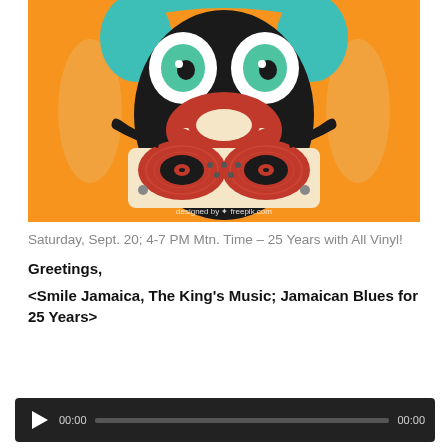[Figure (illustration): Cartoon illustration of a black monster DJ character with big green eyes, wearing teal headphones, with a wide red mouth/beak smiling, scratching two red vinyl records on a turntable/DJ deck. Orange background with lighter orange oval shapes. Watermark reads 'designed by freepik.com'.]
Saturday, Sept. 20; 4-7 PM Mtn. Time – 25 Years with All Vinyl!
Greetings,
<Smile Jamaica, The King's Music; Jamaican Blues for 25 Years>
[Figure (screenshot): Audio player widget with dark background, play button (white triangle), time display showing 00:00, progress bar, and end time 00:00.]